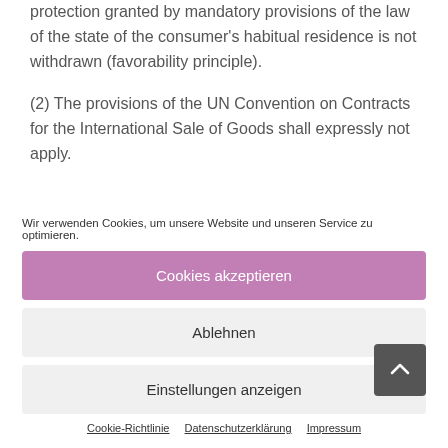protection granted by mandatory provisions of the law of the state of the consumer's habitual residence is not withdrawn (favorability principle).
(2) The provisions of the UN Convention on Contracts for the International Sale of Goods shall expressly not apply.
Wir verwenden Cookies, um unsere Website und unseren Service zu optimieren.
Cookies akzeptieren
Ablehnen
Einstellungen anzeigen
Cookie-Richtlinie   Datenschutzerklärung   Impressum